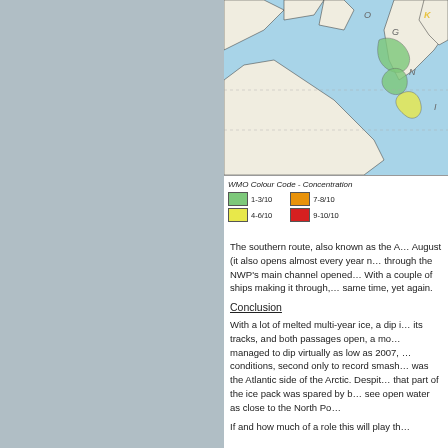[Figure (map): Arctic sea ice concentration map showing the Northwest Passage region, with WMO colour code legend indicating ice concentration levels: 1-3/10 (green), 4-6/10 (yellow), 7-8/10 (orange), 9-10/10 (red). The map shows coastal outlines of northern Canada and surrounding Arctic regions.]
WMO Colour Code - Concentration: 1-3/10 (green), 4-6/10 (yellow), 7-8/10 (orange), 9-10/10 (red)
The southern route, also known as the A… August (it also opens almost every year … through the NWP's main channel opened… With a couple of ships making it through,… same time, yet again.
Conclusion
With a lot of melted multi-year ice, a dip i… its tracks, and both passages open, a mo… managed to dip virtually as low as 2007,… conditions, second only to record smash… was the Atlantic side of the Arctic. Despit… that part of the ice pack was spared by b… see open water as close to the North Po…
If and how much of a role this will play th…